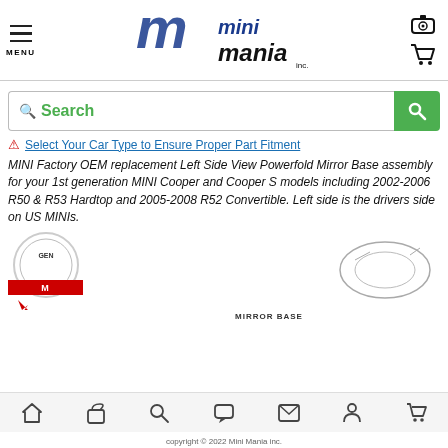[Figure (logo): Mini Mania Inc. logo with stylized 'm' and text]
Search
▲ Select Your Car Type to Ensure Proper Part Fitment
MINI Factory OEM replacement Left Side View Powerfold Mirror Base assembly for your 1st generation MINI Cooper and Cooper S models including 2002-2006 R50 & R53 Hardtop and 2005-2008 R52 Convertible. Left side is the drivers side on US MINIs.
[Figure (photo): Product image showing mirror base assembly and technical diagram]
copyright © 2022 Mini Mania inc.